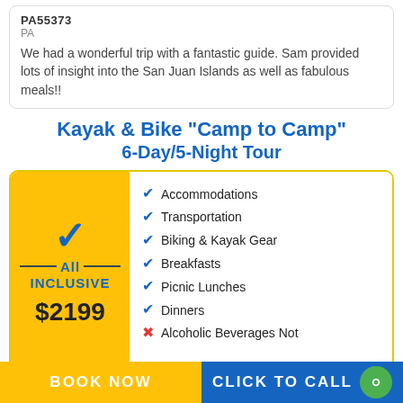PA55373
PA
We had a wonderful trip with a fantastic guide. Sam provided lots of insight into the San Juan Islands as well as fabulous meals!!
Kayak & Bike "Camp to Camp" 6-Day/5-Night Tour
All Inclusive $2199 — Accommodations, Transportation, Biking & Kayak Gear, Breakfasts, Picnic Lunches, Dinners, Alcoholic Beverages Not...
BOOK NOW | CLICK TO CALL